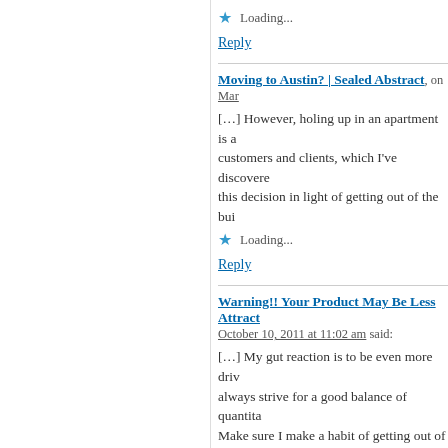★ Loading...
Reply
Moving to Austin? | Sealed Abstract, on Mar...
[…] However, holing up in an apartment is a... customers and clients, which I've discovere... this decision in light of getting out of the bui...
★ Loading...
Reply
Warning!! Your Product May Be Less Attract...
October 10, 2011 at 11:02 am said:
[…] My gut reaction is to be even more driv... always strive for a good balance of quantita... Make sure I make a habit of getting out of th...
★ Loading...
Reply
Checking Alignment | Test Obsessed, on Oct...
[…] If we want to know whether our Intentio...